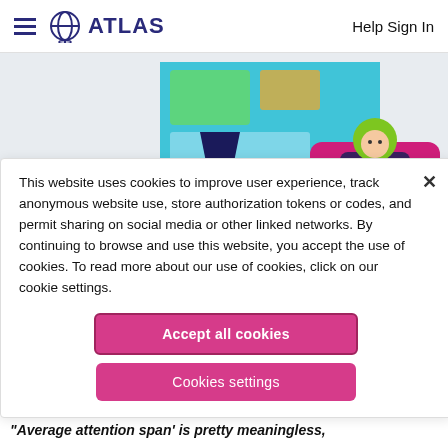ATLAS  Help Sign In
[Figure (illustration): Illustrated scene of a person sitting in a pink armchair using a laptop, next to a lamp and a large monitor/window with a map displayed, flat design style in navy, pink, green, and teal colors]
This website uses cookies to improve user experience, track anonymous website use, store authorization tokens or codes, and permit sharing on social media or other linked networks. By continuing to browse and use this website, you accept the use of cookies. To read more about our use of cookies, click on our cookie settings.
Accept all cookies
Cookies settings
"Average attention span' is pretty meaningless,